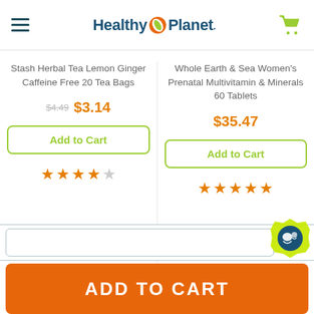Healthy Planet
Stash Herbal Tea Lemon Ginger Caffeine Free 20 Tea Bags
$4.49 $3.14
Add to Cart
4 out of 5 stars
Whole Earth & Sea Women's Prenatal Multivitamin & Minerals 60 Tablets
$35.47
Add to Cart
5 out of 5 stars
ADD TO CART